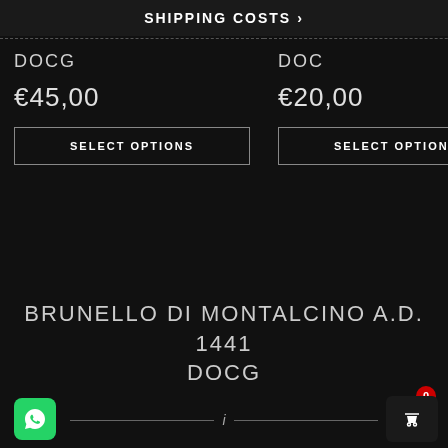SHIPPING COSTS >
DOCG
€45,00
SELECT OPTIONS
DOC
€20,00
SELECT OPTIONS
BRUNELLO DI MONTALCINO A.D. 1441 DOCG